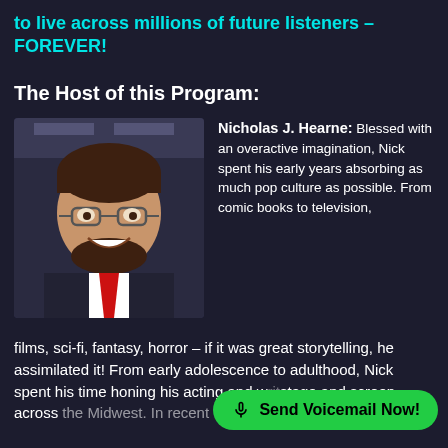to live across millions of future listeners – FOREVER!
The Host of this Program:
[Figure (photo): Headshot of Nicholas J. Hearne, a man with glasses, brown hair, beard, wearing a black vest and red tie, smiling, in front of a studio background.]
Nicholas J. Hearne: Blessed with an overactive imagination, Nick spent his early years absorbing as much pop culture as possible. From comic books to television, films, sci-fi, fantasy, horror – if it was great storytelling, he assimilated it! From early adolescence to adulthood, Nick spent his time honing his acting and writing skills on stage and screen across the Midwest. In recent
Send Voicemail Now!